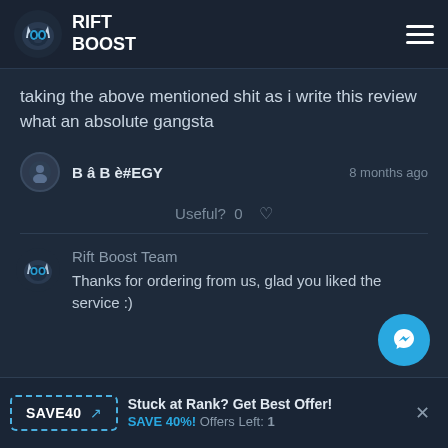RIFT BOOST
taking the above mentioned shit as i write this review what an absolute gangsta
B â B è#EGY   8 months ago
Useful?  0
Rift Boost Team
Thanks for ordering from us, glad you liked the service :)
SAVE40   Stuck at Rank? Get Best Offer! SAVE 40%! Offers Left: 1